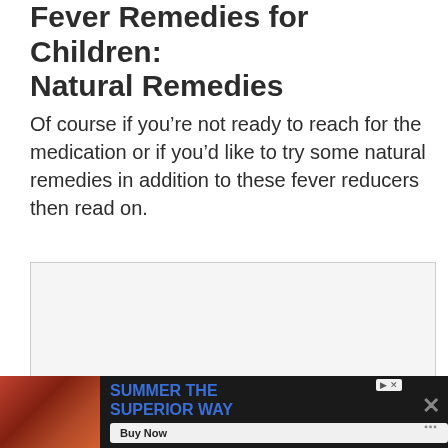Fever Remedies for Children: Natural Remedies
Of course if you’re not ready to reach for the medication or if you’d like to try some natural remedies in addition to these fever reducers then read on.
[Figure (other): Advertisement slot placeholder with three small square dots at bottom center]
[Figure (other): Bottom banner advertisement with dark background showing ‘SUMMER THE SUPERIOR WAY’ text in blue, a Buy Now button, and a close X button on the right]